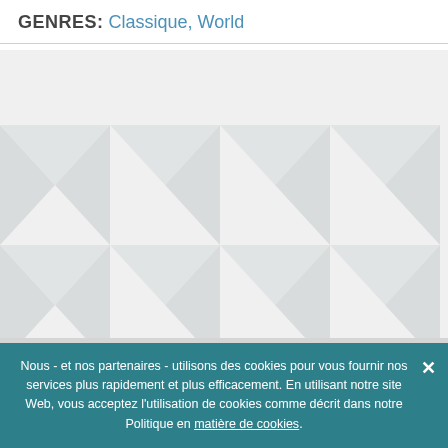GENRES: Classique, World
[Figure (illustration): Decorative watermark background with repeating triangle/chevron pattern in light grey]
7digital   Entreprises   Carrières   Légal   Aide
[Figure (illustration): Twitter and Facebook social media icon buttons]
Retour en haut de la page
Nous - et nos partenaires - utilisons des cookies pour vous fournir nos services plus rapidement et plus efficacement. En utilisant notre site Web, vous acceptez l'utilisation de cookies comme décrit dans notre Politique en matière de cookies.